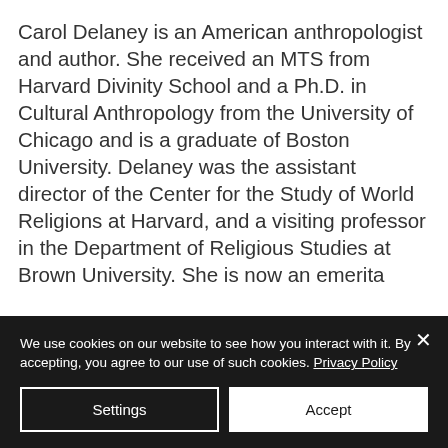Carol Delaney is an American anthropologist and author. She received an MTS from Harvard Divinity School and a Ph.D. in Cultural Anthropology from the University of Chicago and is a graduate of Boston University. Delaney was the assistant director of the Center for the Study of World Religions at Harvard, and a visiting professor in the Department of Religious Studies at Brown University. She is now an emerita
We use cookies on our website to see how you interact with it. By accepting, you agree to our use of such cookies. Privacy Policy